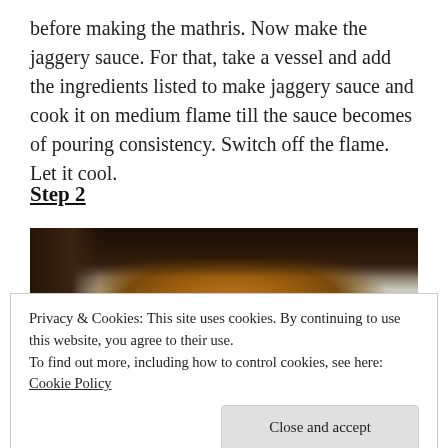before making the mathris. Now make the jaggery sauce. For that, take a vessel and add the ingredients listed to make jaggery sauce and cook it on medium flame till the sauce becomes of pouring consistency. Switch off the flame. Let it cool.
Step 2
[Figure (photo): Close-up photo of a mathri (Indian fried snack) coated in jaggery sauce, stacked on what appears to be foil or a light surface, with a dark background.]
Privacy & Cookies: This site uses cookies. By continuing to use this website, you agree to their use.
To find out more, including how to control cookies, see here: Cookie Policy
Close and accept